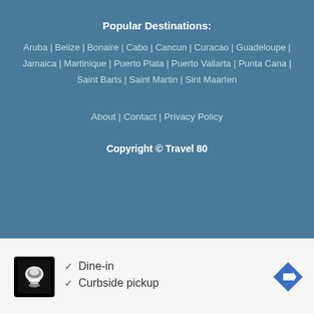Popular Destinations:
Aruba | Belize | Bonaire | Cabo | Cancun | Curacao | Guadeloupe | Jamaica | Martinique | Puerto Plata | Puerto Vallarta | Punta Cana | Saint Barts | Saint Martin | Sint Maarten
About | Contact | Privacy Policy
Copyright © Travel 80
[Figure (infographic): Advertisement banner showing a restaurant logo with chef icon, checkmarks for Dine-in and Curbside pickup options, and a blue navigation arrow icon.]